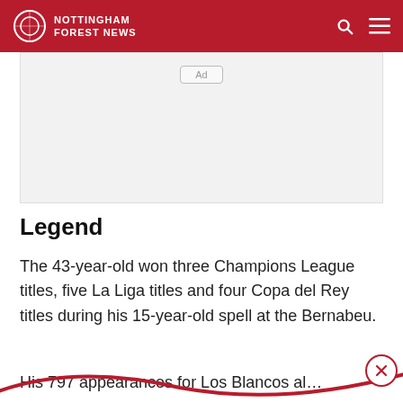NOTTINGHAM FOREST NEWS
[Figure (other): Advertisement placeholder box with 'Ad' label]
Legend
The 43-year-old won three Champions League titles, five La Liga titles and four Copa del Rey titles during his 15-year-old spell at the Bernabeu.
His 797 appearances for Los Blancos al…